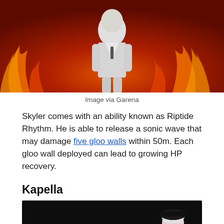[Figure (photo): A game character in a white suit standing in front of flames background - Free Fire character Skyler]
Image via Garena
Skyler comes with an ability known as Riptide Rhythm. He is able to release a sonic wave that may damage five gloo walls within 50m. Each gloo wall deployed can lead to growing HP recovery.
Kapella
[Figure (photo): Free Fire game promotional image showing the Kapella character with Free Fire logo on dark background]